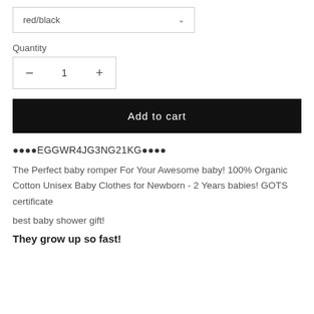[Figure (screenshot): Dropdown selector showing 'red/black' with a chevron icon, inside a bordered box]
Quantity
[Figure (screenshot): Quantity stepper control with minus button, value '1', and plus button inside a bordered box]
Add to cart
••••EGGWR4JG3NG21KG••••
The Perfect baby romper For Your Awesome baby! 100% Organic Cotton Unisex Baby Clothes for Newborn - 2 Years babies! GOTS certificate
best baby shower gift!
They grow up so fast!